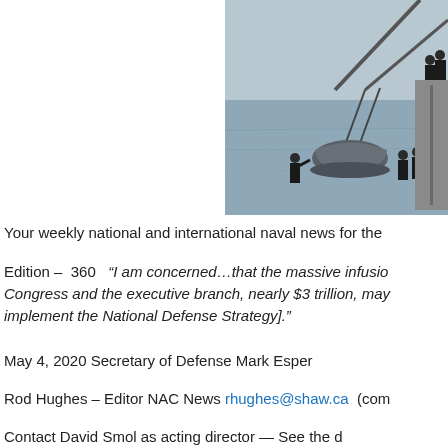[Figure (photo): Military personnel in black gear lowering a gray rigid inflatable boat (RIB) using a crane from a ship on a grey sea]
Your weekly national and international naval news for the
Edition – 360 "I am concerned…that the massive infusion [by] Congress and the executive branch, nearly $3 trillion, may [impede ability to implement the National Defense Strategy]."
May 4, 2020 Secretary of Defense Mark Esper
Rod Hughes – Editor NAC News rhughes@shaw.ca  (com
Contact David Smol as acting director — See the d